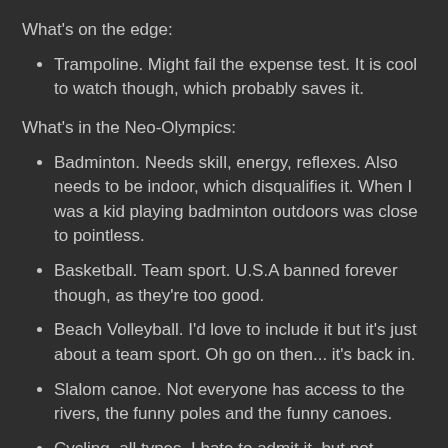What's on the edge:
Trampoline. Might fail the expense test. It is cool to watch though, which probably saves it.
What's in the Neo-Olympics:
Badminton. Needs skill, energy, reflexes. Also needs to be indoor, which disqualifies it. When I was a kid playing badminton outdoors was close to pointless.
Basketball. Team sport. U.S.A banned forever though, as they're too good.
Beach Volleyball. I'd love to include it but it's just about a team sport. Oh go on then... it's back in.
Slalom canoe. Not everyone has access to the rivers, the funny poles and the funny canoes.
Cycling, all types. I hate to admit it, but not everyone has access to the bikes, the velodrome, and the track for BMX.